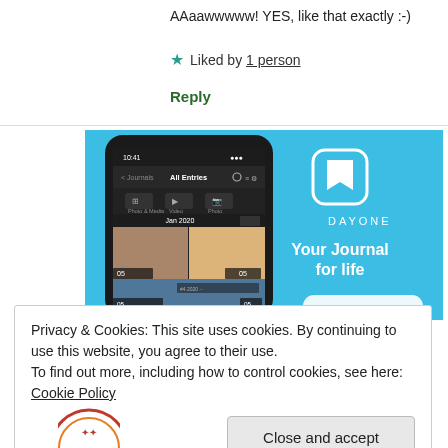AAaawwwww! YES, like that exactly :-)
★ Liked by 1 person
Reply
[Figure (screenshot): DayOne app advertisement banner with blue background showing a phone mockup displaying journal entries, a DayOne logo (bookmark icon in rounded square), text 'DAYONE' in spaced letters, and tagline 'Your Journal for life']
Privacy & Cookies: This site uses cookies. By continuing to use this website, you agree to their use.
To find out more, including how to control cookies, see here: Cookie Policy
Close and accept
[Figure (logo): Partial circular logo at bottom of page]